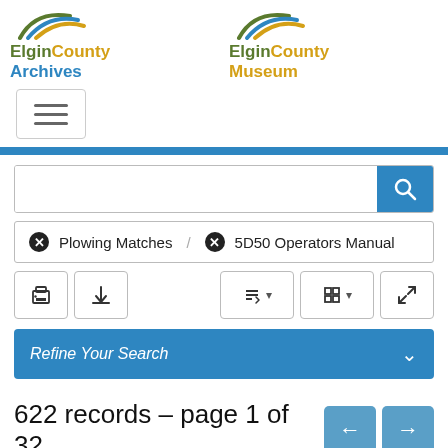[Figure (logo): Elgin County Archives logo with swoosh graphic]
[Figure (logo): Elgin County Museum logo with swoosh graphic]
[Figure (screenshot): Hamburger menu button with three horizontal lines]
Plowing Matches / 5D50 Operators Manual (active search filters)
[Figure (screenshot): Toolbar with print, download, sort, view, and expand buttons]
Refine Your Search
622 records – page 1 of 32.
[Figure (screenshot): Previous and next page navigation buttons]